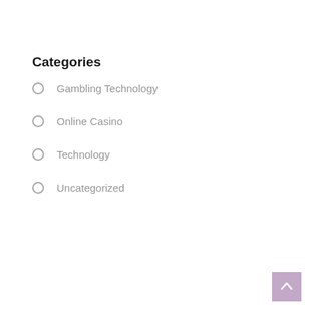Categories
Gambling Technology
Online Casino
Technology
Uncategorized